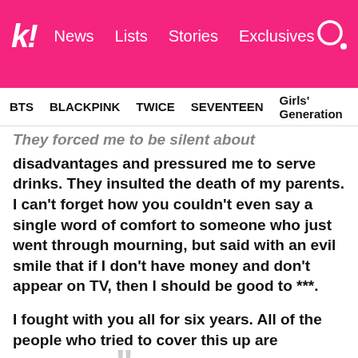k! News  Lists  Stories  Exclusives
BTS  BLACKPINK  TWICE  SEVENTEEN  Girls' Generation
They forced me to be silent about disadvantages and pressured me to serve drinks. They insulted the death of my parents. I can't forget how you couldn't even say a single word of comfort to someone who just went through mourning, but said with an evil smile that if I don't have money and don't appear on TV, then I should be good to ***.
I fought with you all for six years. All of the people who tried to cover this up are accomplices.